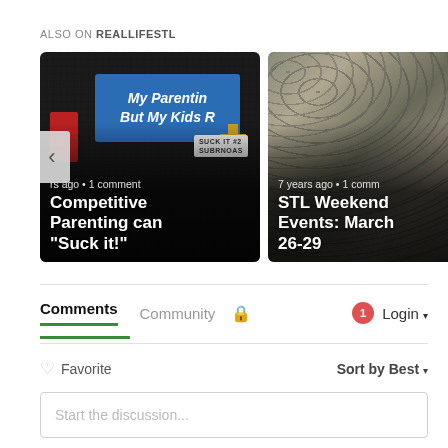ALSO ON REALLIFESTL
[Figure (photo): Card: Competitive Parenting can "Suck it!" — photo of car with bumper sticker, rs ago • 1 comment]
[Figure (photo): Card: STL Weekend Events: March 26-29 — photo of oysters, 7 years ago • 1 comment]
Comments	Community	🔒	1	Login ▾
♡ Favorite	Sort by Best ▾
Start the discussion...